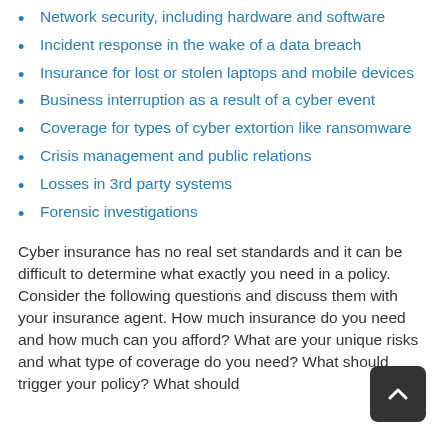Network security, including hardware and software
Incident response in the wake of a data breach
Insurance for lost or stolen laptops and mobile devices
Business interruption as a result of a cyber event
Coverage for types of cyber extortion like ransomware
Crisis management and public relations
Losses in 3rd party systems
Forensic investigations
Cyber insurance has no real set standards and it can be difficult to determine what exactly you need in a policy. Consider the following questions and discuss them with your insurance agent. How much insurance do you need and how much can you afford? What are your unique risks and what type of coverage do you need? What should trigger your policy? What should